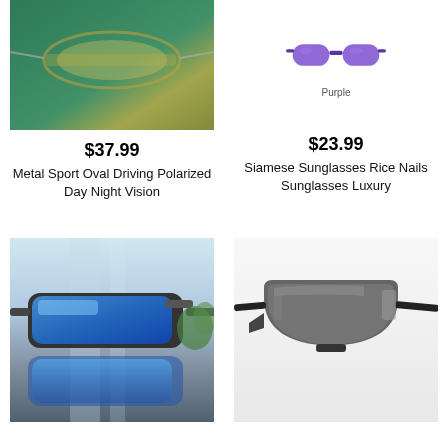[Figure (photo): Partial view of metal sport oval driving sunglasses with yellow-tinted lenses on a green background]
[Figure (photo): Purple flat-lens sunglasses (Siamese Sunglasses) with label 'Purple' below]
$37.99
Metal Sport Oval Driving Polarized Day Night Vision
$23.99
Siamese Sunglasses Rice Nails Sunglasses Luxury
[Figure (photo): Blue-mirrored sporty wrap-around sunglasses with reflection on glass surface]
[Figure (photo): Black shield-style sport sunglasses with dark grey lenses]